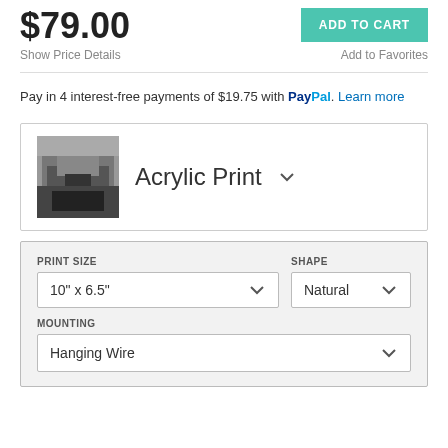$79.00
ADD TO CART
Show Price Details
Add to Favorites
Pay in 4 interest-free payments of $19.75 with PayPal. Learn more
Acrylic Print
PRINT SIZE
10" x 6.5"
SHAPE
Natural
MOUNTING
Hanging Wire